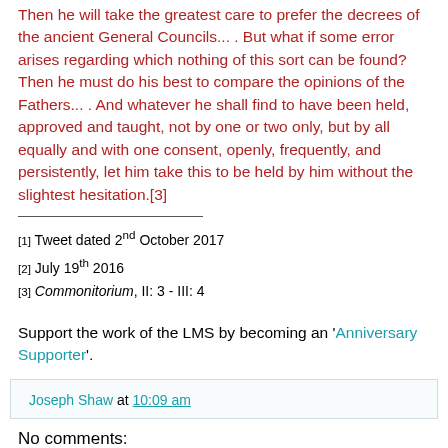Then he will take the greatest care to prefer the decrees of the ancient General Councils... . But what if some error arises regarding which nothing of this sort can be found? Then he must do his best to compare the opinions of the Fathers... . And whatever he shall find to have been held, approved and taught, not by one or two only, but by all equally and with one consent, openly, frequently, and persistently, let him take this to be held by him without the slightest hesitation.[3]
[1] Tweet dated 2nd October 2017
[2] July 19th 2016
[3] Commonitorium, II: 3 - III: 4
Support the work of the LMS by becoming an 'Anniversary Supporter'.
Joseph Shaw at 10:09 am
No comments: